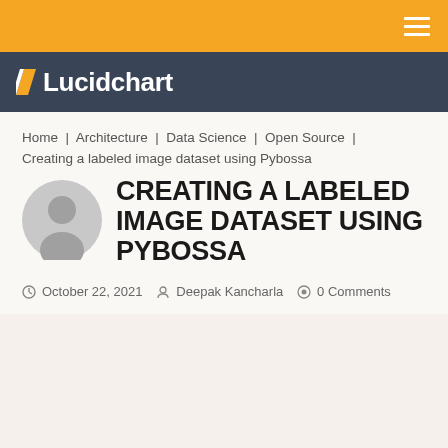Lucidchart
Home | Architecture | Data Science | Open Source |
Creating a labeled image dataset using Pybossa
CREATING A LABELED IMAGE DATASET USING PYBOSSA
October 22, 2021   Deepak Kancharla   0 Comments